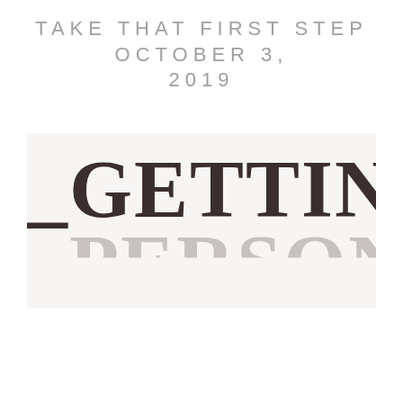TAKE THAT FIRST STEP OCTOBER 3, 2019
[Figure (illustration): Light beige/cream banner background with large bold serif text reading '_GETTING' in dark brown, with partially visible text below it (cropped). Represents a blog or article title card.]